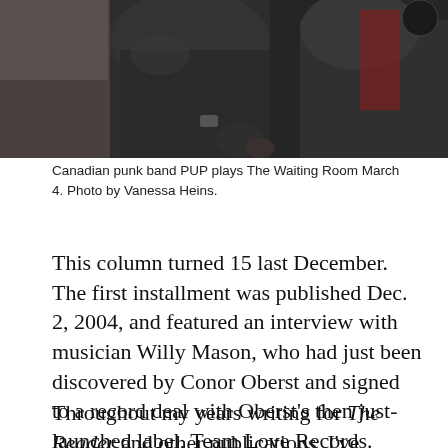[Figure (photo): Photograph of Canadian punk band PUP, showing two or more people, cropped at the top of the frame against a blurred background]
Canadian punk band PUP plays The Waiting Room March 4. Photo by Vanessa Heins.
This column turned 15 last December. The first installment was published Dec. 2, 2004, and featured an interview with musician Willy Mason, who had just been discovered by Conor Oberst and signed to a record deal with Oberst's then just-launched label, Team Love Records. Hundreds of columns followed, covering music, culture, society and politics.
Throughout my years writing for The Reader and other publications, I've interviewed